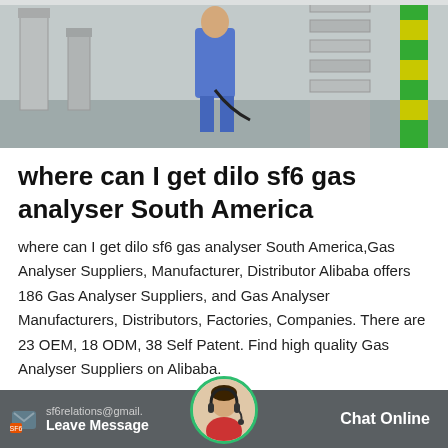[Figure (photo): Worker in blue coveralls standing among industrial steel structures/equipment, with a green and yellow striped pole visible on the right side]
where can I get dilo sf6 gas analyser South America
where can I get dilo sf6 gas analyser South America,Gas Analyser Suppliers, Manufacturer, Distributor Alibaba offers 186 Gas Analyser Suppliers, and Gas Analyser Manufacturers, Distributors, Factories, Companies. There are 23 OEM, 18 ODM, 38 Self Patent. Find high quality Gas Analyser Suppliers on Alibaba.
sf6relations@gmail. Leave Message  Chat Online